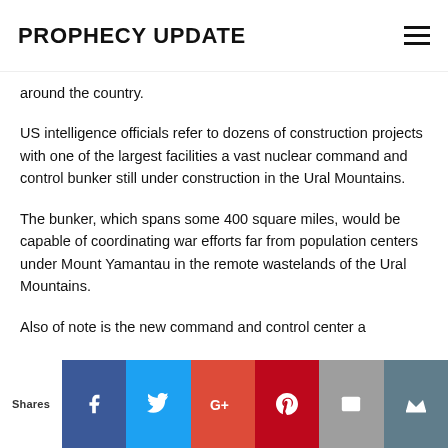PROPHECY UPDATE
around the country.
US intelligence officials refer to dozens of construction projects with one of the largest facilities a vast nuclear command and control bunker still under construction in the Ural Mountains.
The bunker, which spans some 400 square miles, would be capable of coordinating war efforts far from population centers under Mount Yamantau in the remote wastelands of the Ural Mountains.
Also of note is the new command and control center a
Shares | Facebook | Twitter | Google+ | Pinterest | Email | Crown